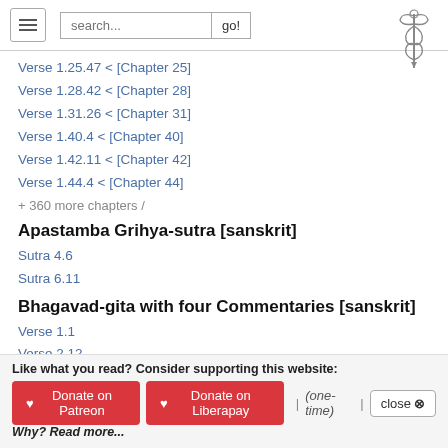[navigation bar with hamburger menu, search box, go! button, and caduceus logo]
Verse 1.25.47 < [Chapter 25]
Verse 1.28.42 < [Chapter 28]
Verse 1.31.26 < [Chapter 31]
Verse 1.40.4 < [Chapter 40]
Verse 1.42.11 < [Chapter 42]
Verse 1.44.4 < [Chapter 44]
+ 360 more chapters /
Apastamba Grihya-sutra [sanskrit]
Sutra 4.6
Sutra 6.11
Bhagavad-gita with four Commentaries [sanskrit]
Verse 1.1
Verse 2.12
Verse 2.13
Verse 2.16
Like what you read? Consider supporting this website: ♥ Donate on Patreon | ♥ Donate on Liberapay | (one-time) | close ⊗ | Why? Read more...